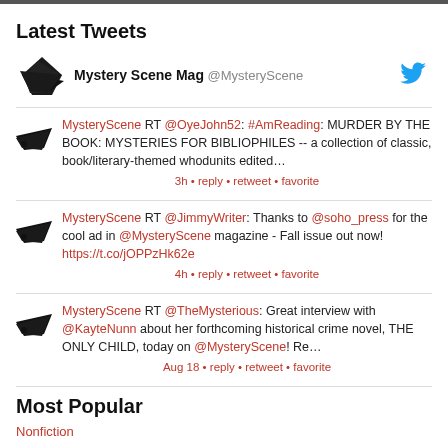Latest Tweets
Mystery Scene Mag @MysteryScene
MysteryScene RT @OyeJohn52: #AmReading: MURDER BY THE BOOK: MYSTERIES FOR BIBLIOPHILES -- a collection of classic, book/literary-themed whodunits edited…
3h • reply • retweet • favorite
MysteryScene RT @JimmyWriter: Thanks to @soho_press for the cool ad in @MysteryScene magazine - Fall issue out now! https://t.co/jOPPzHk62e
4h • reply • retweet • favorite
MysteryScene RT @TheMysterious: Great interview with @KayteNunn about her forthcoming historical crime novel, THE ONLY CHILD, today on @MysteryScene! Re…
Aug 18 • reply • retweet • favorite
Most Popular
Nonfiction